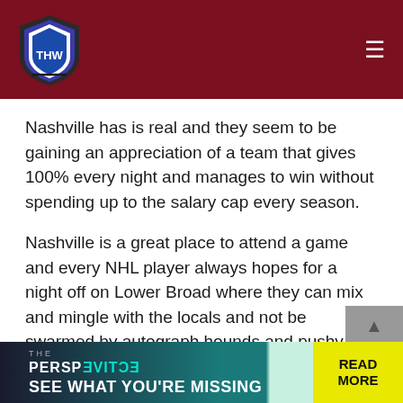THW
Nashville has is real and they seem to be gaining an appreciation of a team that gives 100% every night and manages to win without spending up to the salary cap every season.
Nashville is a great place to attend a game and every NHL player always hopes for a night off on Lower Broad where they can mix and mingle with the locals and not be swarmed by autograph hounds and pushy fans
[Figure (other): Broken image placeholder with small icon]
[Figure (other): Advertisement banner: THE PERSPECTIVE - SEE WHAT YOU'RE MISSING - READ MORE]